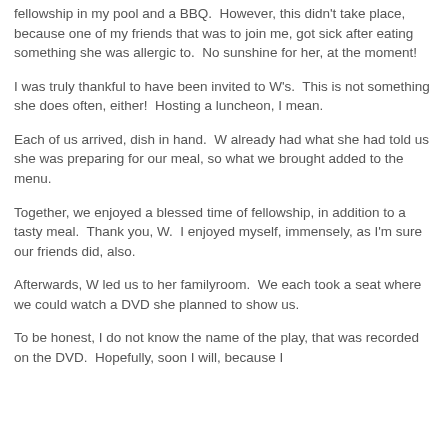fellowship in my pool and a BBQ.  However, this didn't take place, because one of my friends that was to join me, got sick after eating something she was allergic to.  No sunshine for her, at the moment!
I was truly thankful to have been invited to W's.  This is not something she does often, either!  Hosting a luncheon, I mean.
Each of us arrived, dish in hand.  W already had what she had told us she was preparing for our meal, so what we brought added to the menu.
Together, we enjoyed a blessed time of fellowship, in addition to a tasty meal.  Thank you, W.  I enjoyed myself, immensely, as I'm sure our friends did, also.
Afterwards, W led us to her familyroom.  We each took a seat where we could watch a DVD she planned to show us.
To be honest, I do not know the name of the play, that was recorded on the DVD.  Hopefully, soon I will, because I